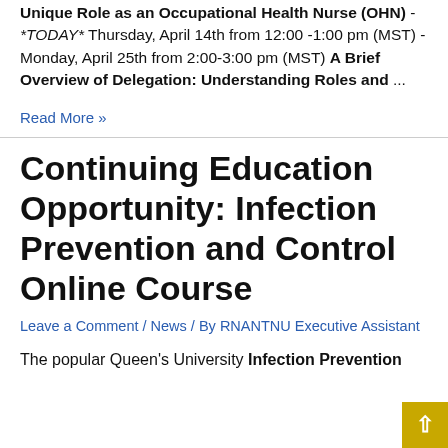Unique Role as an Occupational Health Nurse (OHN) -*TODAY* Thursday, April 14th from 12:00 -1:00 pm (MST) -Monday, April 25th from 2:00-3:00 pm (MST) A Brief Overview of Delegation: Understanding Roles and ...
Read More »
Continuing Education Opportunity: Infection Prevention and Control Online Course
Leave a Comment / News / By RNANTNU Executive Assistant
The popular Queen's University Infection Prevention